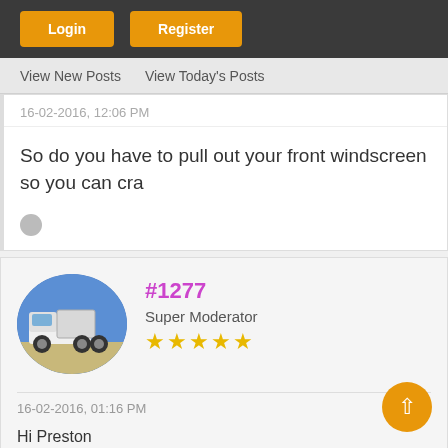Login | Register
View New Posts  View Today's Posts
16-02-2016, 12:06 PM
So do you have to pull out your front windscreen so you can cra
[Figure (illustration): Small grey avatar circle]
#1277
Super Moderator
★★★★★
16-02-2016, 01:16 PM
Hi Preston